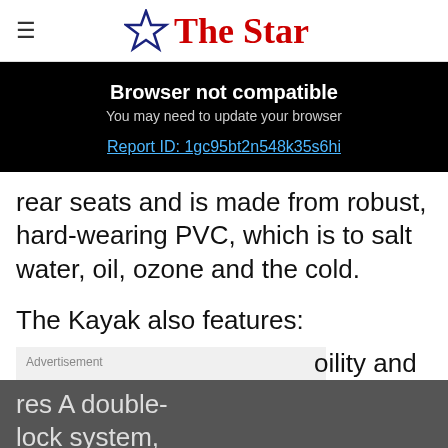The Star
Browser not compatible
You may need to update your browser
Report ID: 1gc95bt2n548k35s6hi
rear seats and is made from robust, hard-wearing PVC, which is to salt water, oil, ozone and the cold.
The Kayak also features:
oility and 5-
res A double-
lock system,